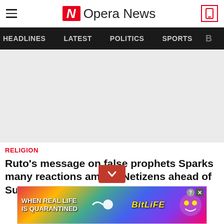Opera News
HEADLINES   LATEST   POLITICS   SPORTS
[Figure (photo): Large gray placeholder image area for article content]
RELIGION
Ruto's message on false prophets Sparks many reactions among Netizens ahead of Supreme court ruling
[Figure (infographic): BitLife advertisement banner with rainbow background, text 'WHEN REAL LIFE IS QUARANTINED' and 'BitLife' logo with cartoon emoji]